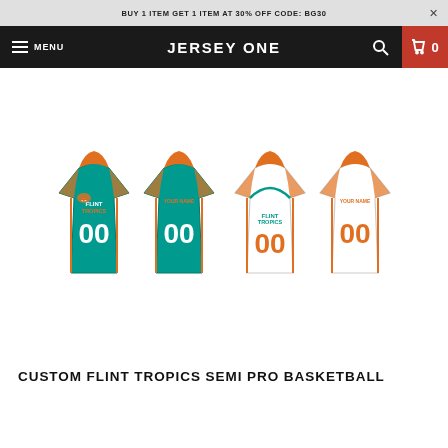BUY 1 ITEM GET 1 ITEM AT 30% OFF CODE: BG30
JERSEY ONE  MENU  0
[Figure (photo): Four basketball jerseys: two teal/green Flint Tropics jerseys (front and back) and two white Flint Tropics jerseys (front and back), all with number 00 and custom name text.]
CUSTOM FLINT TROPICS SEMI PRO BASKETBALL